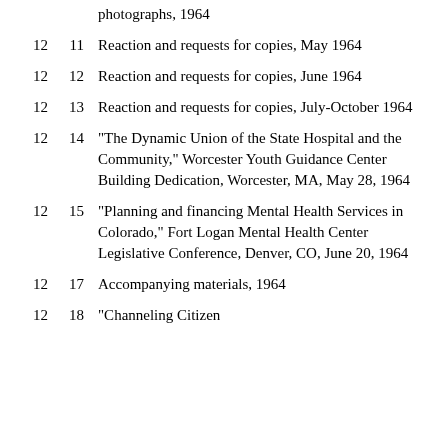photographs, 1964
12  11  Reaction and requests for copies, May 1964
12  12  Reaction and requests for copies, June 1964
12  13  Reaction and requests for copies, July-October 1964
12  14  "The Dynamic Union of the State Hospital and the Community," Worcester Youth Guidance Center Building Dedication, Worcester, MA, May 28, 1964
12  15  "Planning and financing Mental Health Services in Colorado," Fort Logan Mental Health Center Legislative Conference, Denver, CO, June 20, 1964
12  17  Accompanying materials, 1964
12  18  "Channeling Citizen